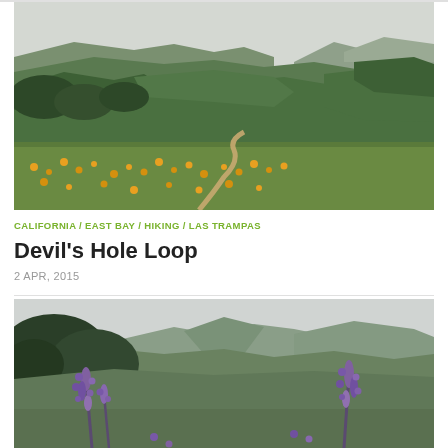[Figure (photo): Panoramic landscape photo of rolling green hills with orange wildflowers (California poppies) in the foreground, a winding dirt trail, green hillsides, and a cloudy sky. Las Trampas Regional Wilderness area.]
CALIFORNIA / EAST BAY / HIKING / LAS TRAMPAS
Devil's Hole Loop
2 APR, 2015
[Figure (photo): Landscape photo of mountain ridgeline with purple lupine wildflowers in the foreground and green hillsides with bay water visible in the distance under a cloudy sky.]